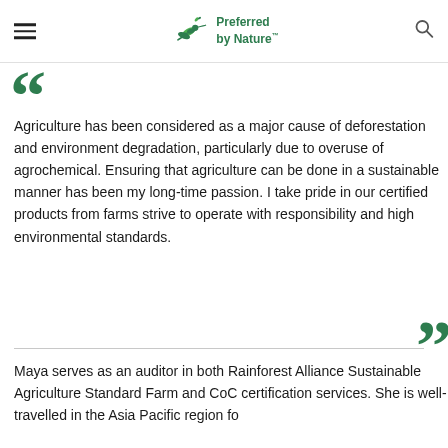Preferred by Nature
Agriculture has been considered as a major cause of deforestation and environment degradation, particularly due to overuse of agrochemical. Ensuring that agriculture can be done in a sustainable manner has been my long-time passion. I take pride in our certified products from farms strive to operate with responsibility and high environmental standards.
Maya serves as an auditor in both Rainforest Alliance Sustainable Agriculture Standard Farm and CoC certification services. She is well-travelled in the Asia Pacific region fo